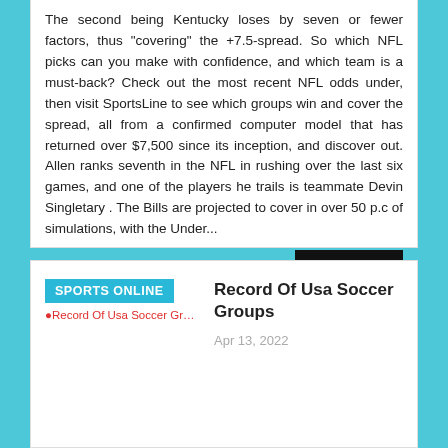The second being Kentucky loses by seven or fewer factors, thus "covering" the +7.5-spread. So which NFL picks can you make with confidence, and which team is a must-back? Check out the most recent NFL odds under, then visit SportsLine to see which groups win and cover the spread, all from a confirmed computer model that has returned over $7,500 since its inception, and discover out. Allen ranks seventh in the NFL in rushing over the last six games, and one of the players he trails is teammate Devin Singletary . The Bills are projected to cover in over 50 p.c of simulations, with the Under...
Read more
SPORTS ONLINE
[Figure (other): Thumbnail image placeholder with red text reading 'Record Of Usa Soccer Groups']
Record Of Usa Soccer Groups
Apr 13, 2022